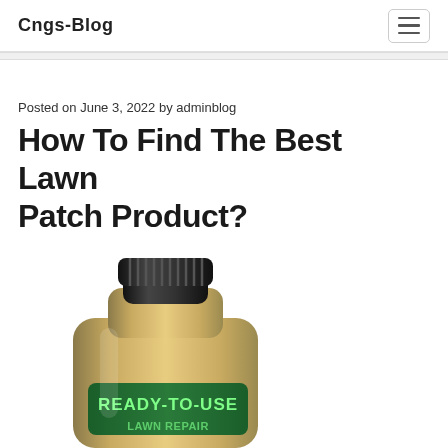Cngs-Blog
Posted on June 3, 2022 by adminblog
How To Find The Best Lawn Patch Product?
[Figure (photo): A gold/tan colored spray bottle with a black ribbed cap, with a green label reading READY-TO-USE on the lower portion of the bottle. The bottle is cropped showing mostly the top and upper body of the container.]